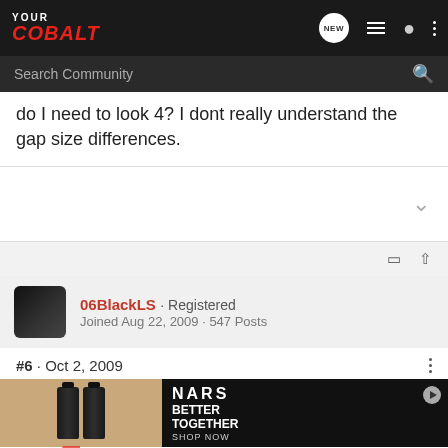[Figure (screenshot): YourCobalt forum website navigation bar with logo, search bubble with NEW label, list icon, user icon, and menu dots]
do I need to look 4? I dont really understand the gap size differences.
#6 · Oct 2, 2009
06BlackLS · Registered
Joined Aug 22, 2009 · 547 Posts
[Figure (screenshot): NARS cosmetics advertisement showing dark bottles on tan background and BETTER TOGETHER SHOP NOW text on black background]
JDrive